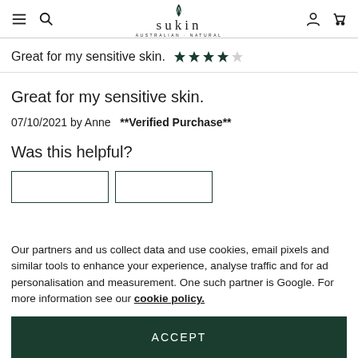Sukin Australian Natural — navigation bar with menu, search, account, and cart icons
Great for my sensitive skin. ★★★★☆
Great for my sensitive skin.
07/10/2021 by Anne  **Verified Purchase**
Was this helpful?
Our partners and us collect data and use cookies, email pixels and similar tools to enhance your experience, analyse traffic and for ad personalisation and measurement. One such partner is Google. For more information see our cookie policy.
ACCEPT